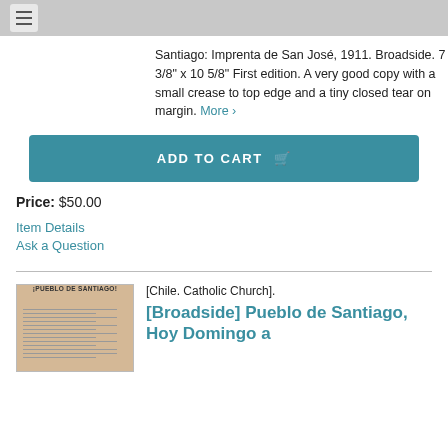Santiago: Imprenta de San José, 1911. Broadside. 7 3/8" x 10 5/8" First edition. A very good copy with a small crease to top edge and a tiny closed tear on margin. More >
ADD TO CART
Price: $50.00
Item Details
Ask a Question
[Chile. Catholic Church].
[Broadside] Pueblo de Santiago, Hoy Domingo a